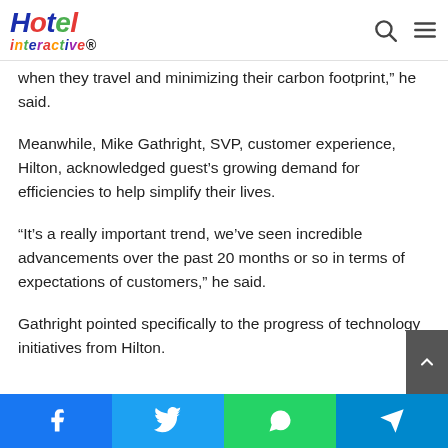Hotel interactive
when they travel and minimizing their carbon footprint,” he said.
Meanwhile, Mike Gathright, SVP, customer experience, Hilton, acknowledged guest’s growing demand for efficiencies to help simplify their lives.
“It’s a really important trend, we’ve seen incredible advancements over the past 20 months or so in terms of expectations of customers,” he said.
Gathright pointed specifically to the progress of technology initiatives from Hilton.
Facebook | Twitter | WhatsApp | Telegram